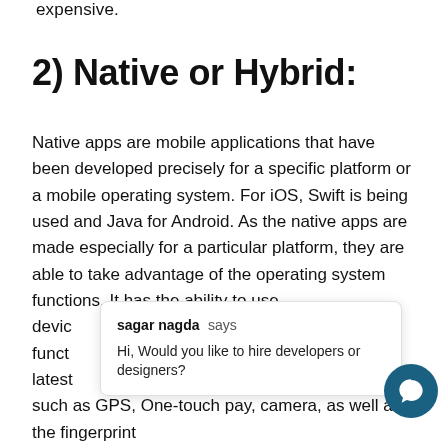expensive.
2) Native or Hybrid:
Native apps are mobile applications that have been developed precisely for a specific platform or a mobile operating system. For iOS, Swift is being used and Java for Android. As the native apps are made especially for a particular platform, they are able to take advantage of the operating system functions. It has the ability to use device functions. latest mobile devices such as GPS, One-touch pay, camera, as well as the fingerprint
sagar nagda says
Hi, Would you like to hire developers or designers?